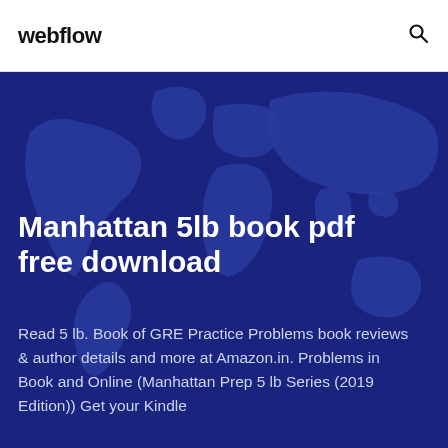webflow
[Figure (illustration): Dark blue hero background with world map silhouette illustration]
Manhattan 5lb book pdf free download
Read 5 lb. Book of GRE Practice Problems book reviews & author details and more at Amazon.in. Problems in Book and Online (Manhattan Prep 5 lb Series (2019 Edition)) Get your Kindle